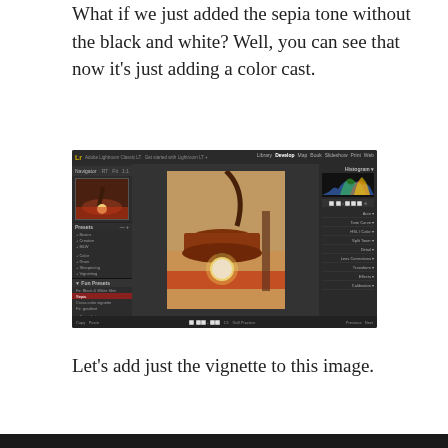What if we just added the sepia tone without the black and white? Well, you can see that now it's just adding a color cast.
[Figure (screenshot): Adobe Lightroom screenshot showing a lamp photo with sepia/orange color cast applied, with the Presets panel on the left showing 'Sepia' preset selected (highlighted in red), and the Develop module controls on the right.]
Let's add just the vignette to this image.